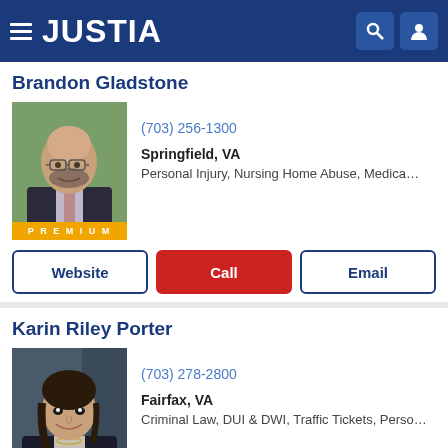[Figure (screenshot): Justia website header with hamburger menu, Justia logo, search and profile icons on dark blue background]
Brandon Gladstone
[Figure (photo): Professional headshot of Brandon Gladstone, a middle-aged bald man with beard wearing suit and tie]
(703) 256-1300
Springfield, VA
Personal Injury, Nursing Home Abuse, Medica...
Karin Riley Porter
[Figure (photo): Professional headshot of Karin Riley Porter, a woman with dark hair wearing blazer]
(703) 278-2800
Fairfax, VA
Criminal Law, DUI & DWI, Traffic Tickets, Perso...